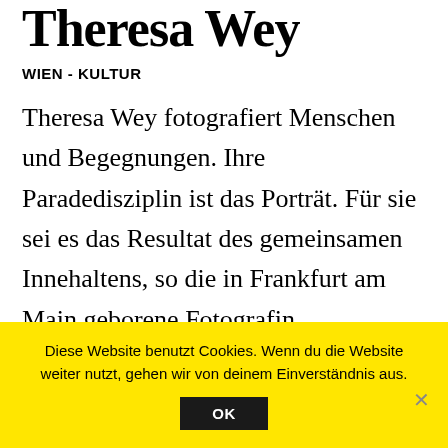Theresa Wey
WIEN - KULTUR
Theresa Wey fotografiert Menschen und Begegnungen. Ihre Paradedisziplin ist das Porträt. Für sie sei es das Resultat des gemeinsamen Innehaltens, so die in Frankfurt am Main geborene Fotografin.
Diese Website benutzt Cookies. Wenn du die Website weiter nutzt, gehen wir von deinem Einverständnis aus.
OK